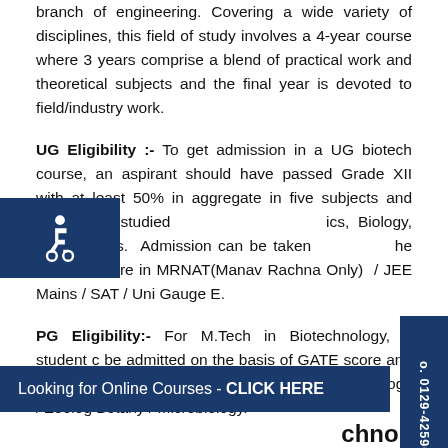branch of engineering. Covering a wide variety of disciplines, this field of study involves a 4-year course where 3 years comprise a blend of practical work and theoretical subjects and the final year is devoted to field/industry work.
UG Eligibility :- To get admission in a UG biotech course, an aspirant should have passed Grade XII with at least 50% in aggregate in five subjects and must have studied Physics, Biology, Mathematics. Admission can be taken on the basis of score in MRNAT(Manav Rachna Only) / JEE Mains / SAT / Uni Gauge E.
PG Eligibility:- For M.Tech in Biotechnology, a student can be admitted on the basis of GATE score and by scoring minimum 50% marks in B.Tech Biotechnology / Zoology / Botany / Microbiology.
Looking for Online Courses - CLICK HERE
chnology